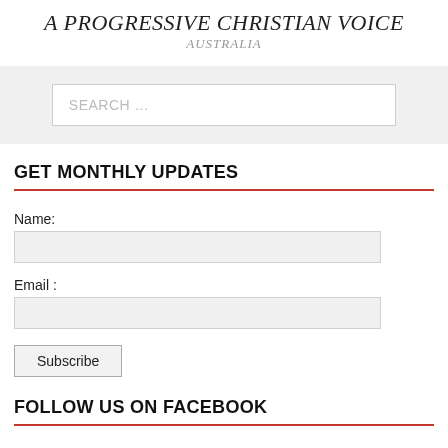A PROGRESSIVE CHRISTIAN VOICE
AUSTRALIA
[Figure (other): Search input field with placeholder text SEARCH ...]
GET MONTHLY UPDATES
Name:
Email :
Subscribe
FOLLOW US ON FACEBOOK